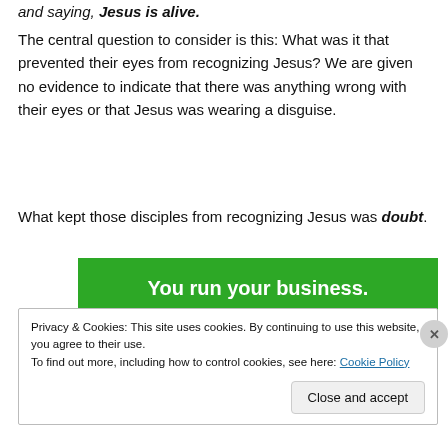and saying, 'Jesus is alive.'
The central question to consider is this: What was it that prevented their eyes from recognizing Jesus? We are given no evidence to indicate that there was anything wrong with their eyes or that Jesus was wearing a disguise.
What kept those disciples from recognizing Jesus was doubt.
[Figure (other): Green advertisement banner reading 'You run your business.']
Privacy & Cookies: This site uses cookies. By continuing to use this website, you agree to their use. To find out more, including how to control cookies, see here: Cookie Policy
Close and accept